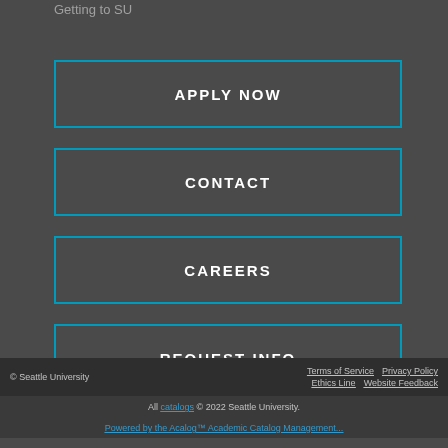Getting to SU
APPLY NOW
CONTACT
CAREERS
REQUEST INFO
© Seattle University    Terms of Service    Privacy Policy    Ethics Line    Website Feedback    All catalogs © 2022 Seattle University.